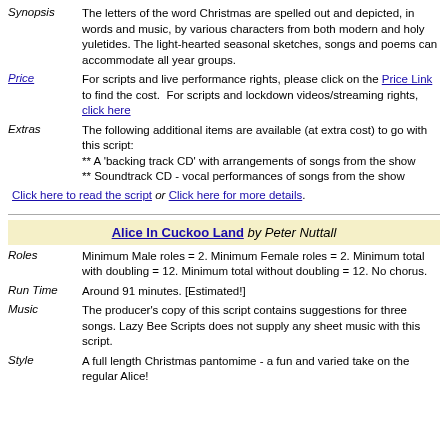Synopsis: The letters of the word Christmas are spelled out and depicted, in words and music, by various characters from both modern and holy yuletides. The light-hearted seasonal sketches, songs and poems can accommodate all year groups.
Price: For scripts and live performance rights, please click on the Price Link to find the cost. For scripts and lockdown videos/streaming rights, click here
Extras: The following additional items are available (at extra cost) to go with this script: ** A 'backing track CD' with arrangements of songs from the show ** Soundtrack CD - vocal performances of songs from the show
Click here to read the script or Click here for more details.
Alice In Cuckoo Land by Peter Nuttall
Roles: Minimum Male roles = 2. Minimum Female roles = 2. Minimum total with doubling = 12. Minimum total without doubling = 12. No chorus.
Run Time: Around 91 minutes. [Estimated!]
Music: The producer's copy of this script contains suggestions for three songs. Lazy Bee Scripts does not supply any sheet music with this script.
Style: A full length Christmas pantomime - a fun and varied take on the regular Alice!